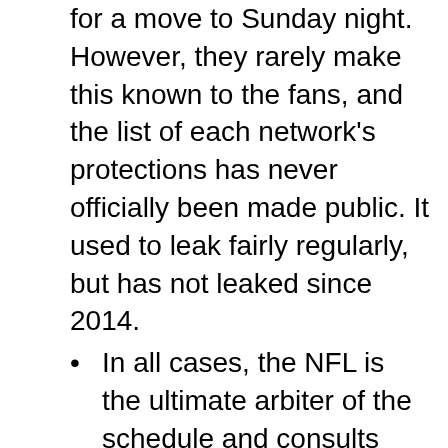for a move to Sunday night. However, they rarely make this known to the fans, and the list of each network's protections has never officially been made public. It used to leak fairly regularly, but has not leaked since 2014.
In all cases, the NFL is the ultimate arbiter of the schedule and consults with CBS, Fox, and NBC before moving any games to prime time. If the NFL does elect to flex out the Sunday night game, the network whose game is flexed in may receive the former tentative game, regardless of which network would “normally” air it under the “CBS=AFC, Fox=NFC” rules, keeping each network’s total number